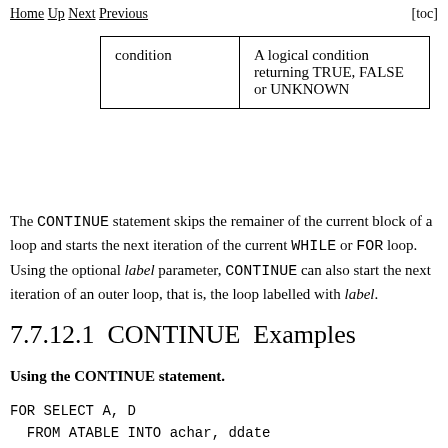Home Up Next Previous [toc]
| condition | A logical condition returning TRUE, FALSE or UNKNOWN |
The CONTINUE statement skips the remainer of the current block of a loop and starts the next iteration of the current WHILE or FOR loop. Using the optional label parameter, CONTINUE can also start the next iteration of an outer loop, that is, the loop labelled with label.
7.7.12.1  CONTINUE  Examples
Using the CONTINUE statement.
FOR SELECT A, D
  FROM ATABLE INTO achar, ddate